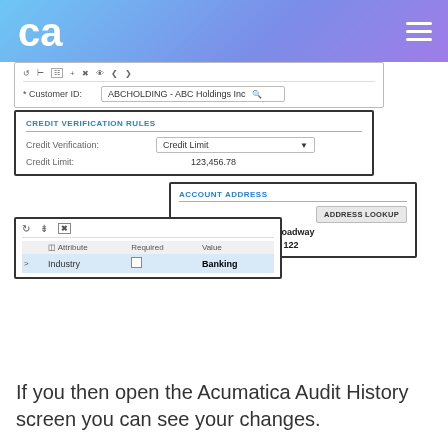[Figure (screenshot): Screenshot of Acumatica ERP interface showing Customer ID field with ABCHOLDING - ABC Holdings Inc, Credit Verification Rules panel with Credit Limit dropdown and 123,456.78 value, Account Address panel with 65 Broadway Suite 122, and an attribute table showing Industry: Banking]
If you then open the Acumatica Audit History screen you can see your changes.